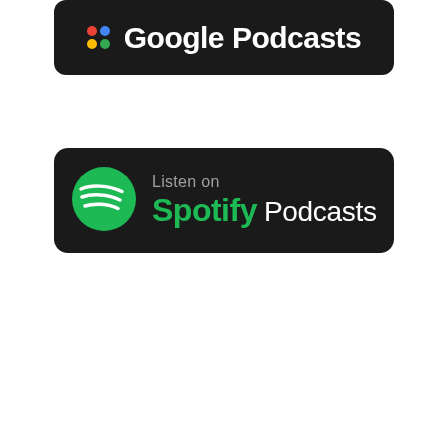[Figure (logo): Google Podcasts badge — black rounded rectangle with Google colored dots icon and white text 'Google Podcasts']
[Figure (logo): Spotify Podcasts badge — black rounded rectangle with green Spotify circle logo, gray 'Listen on' text, green 'Spotify' and white 'Podcasts' text]